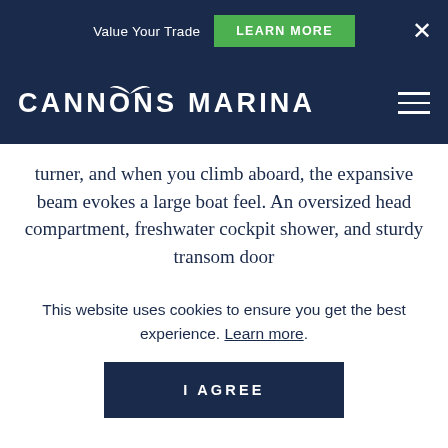Value Your Trade  LEARN MORE  ×
[Figure (logo): Cannons Marina logo with seagull above the 'O' in CANNONS, white text on dark navy background, with hamburger menu icon on the right]
turner, and when you climb aboard, the expansive beam evokes a large boat feel. An oversized head compartment, freshwater cockpit shower, and sturdy transom door
This website uses cookies to ensure you get the best experience. Learn more.
I AGREE